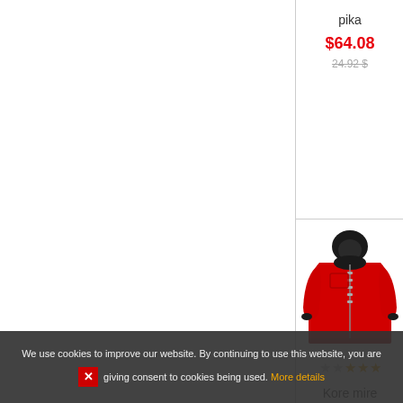pika
$64.08
24.92 $
[Figure (photo): Red hooded winter jacket product photo]
★★★★ (3 stars out of 5)
Kore mire dase
$132.00
33.00 $
[Figure (photo): Partial product image at bottom of page]
We use cookies to improve our website. By continuing to use this website, you are giving consent to cookies being used. More details